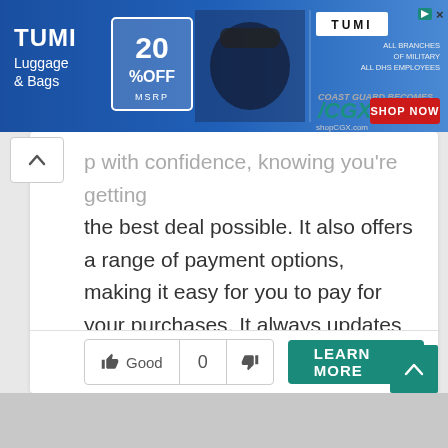[Figure (screenshot): TUMI Luggage & Bags advertisement banner with 20% OFF MSRP, CGX shop now button]
sp with confidence, knowing you're getting the best deal possible. It also offers a range of payment options, making it easy for you to pay for your purchases. It always updates inventory with the latest trends, so you can always find something new and exciting to buy. You can find clothes, accessories, home decor, and more at great prices on the website.